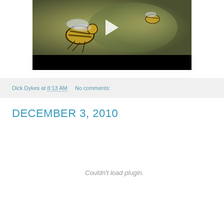[Figure (screenshot): Video thumbnail showing bees in flight with a play button overlay, and a black bar at the bottom]
Dick Dykes at 8:13 AM    No comments:
DECEMBER 3, 2010
Couldn't load plugin.